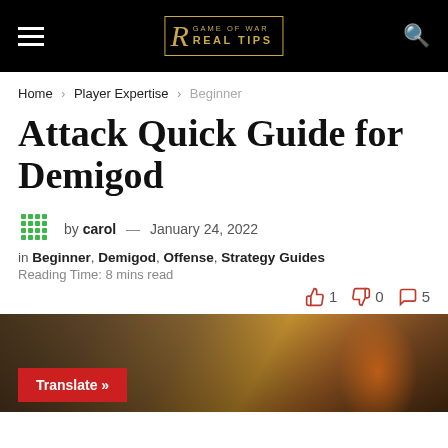Game of War Real Tips — navigation header
Home > Player Expertise > Beginner
Attack Quick Guide for Demigod
by carol — January 24, 2022
in Beginner, Demigod, Offense, Strategy Guides
Reading Time: 8 mins read
👍 1  👎 0  💬 5
[Figure (photo): Game of War battle scene showing siege and fire, with a red Translate button overlay]